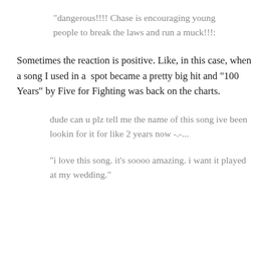“dangerous!!!! Chase is encouraging young people to break the laws and run a muck!!!:
Sometimes the reaction is positive. Like, in this case, when a song I used in a  spot became a pretty big hit and “100 Years” by Five for Fighting was back on the charts.
dude can u plz tell me the name of this song ive been lookin for it for like 2 years now -.-...
“i love this song. it’s soooo amazing. i want it played at my wedding.”